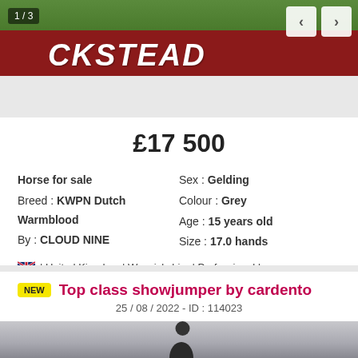FILTERS
[Figure (photo): Hickstead equestrian venue sign image with green grass and red background, showing partial text HICKSTEAD. Navigation arrows and 1/3 counter visible.]
£17 500
Horse for sale
Breed : KWPN Dutch Warmblood
By : CLOUD NINE
Sex : Gelding
Colour : Grey
Age : 15 years old
Size : 17.0 hands
🇬🇧 | United Kingdom | Warwickshire | Professional |
Top class showjumper by cardento
25 / 08 / 2022 - ID : 114023
[Figure (photo): Partial photo of a horse and rider in an equestrian arena with large windows visible in the background.]